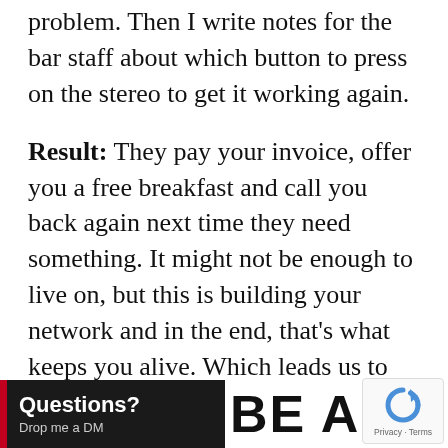problem.  Then I write notes for the bar staff about which button to press on the stereo to get it working again.
Result: They pay your invoice, offer you a free breakfast and call you back again next time they need something.  It might not be enough to live on, but this is building your network and in the end, that's what keeps you alive.  Which leads us to the next point:
[Figure (other): Black bar with red accent and white text reading 'Questions? Drop me a DM']
BE AN
[Figure (other): reCAPTCHA logo with Privacy - Terms text]